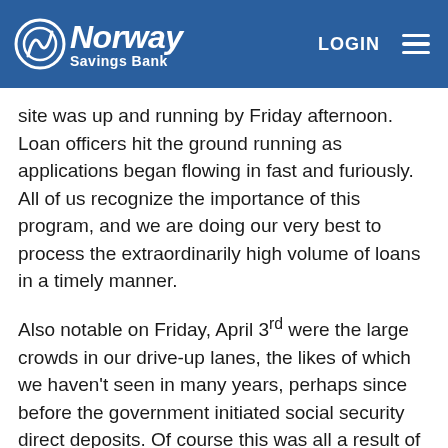[Figure (logo): Norway Savings Bank logo with circular icon and white text on blue header background, with LOGIN button and hamburger menu]
site was up and running by Friday afternoon. Loan officers hit the ground running as applications began flowing in fast and furiously. All of us recognize the importance of this program, and we are doing our very best to process the extraordinarily high volume of loans in a timely manner.
Also notable on Friday, April 3rd were the large crowds in our drive-up lanes, the likes of which we haven't seen in many years, perhaps since before the government initiated social security direct deposits. Of course this was all a result of our continued branch lobby closures, and we sincerely apologize if you were impacted by the long waits.